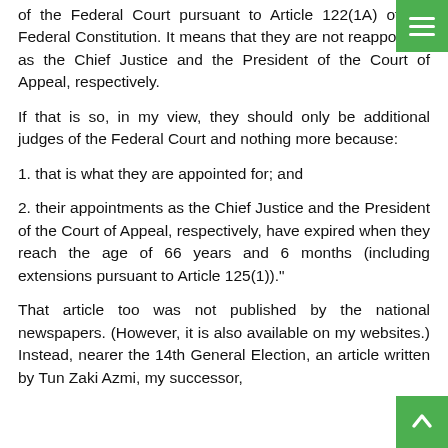of the Federal Court pursuant to Article 122(1A) of the Federal Constitution. It means that they are not reappointed as the Chief Justice and the President of the Court of Appeal, respectively.
If that is so, in my view, they should only be additional judges of the Federal Court and nothing more because:
1. that is what they are appointed for; and
2. their appointments as the Chief Justice and the President of the Court of Appeal, respectively, have expired when they reach the age of 66 years and 6 months (including extensions pursuant to Article 125(1))."
That article too was not published by the national newspapers. (However, it is also available on my websites.) Instead, nearer the 14th General Election, an article written by Tun Zaki Azmi, my successor,